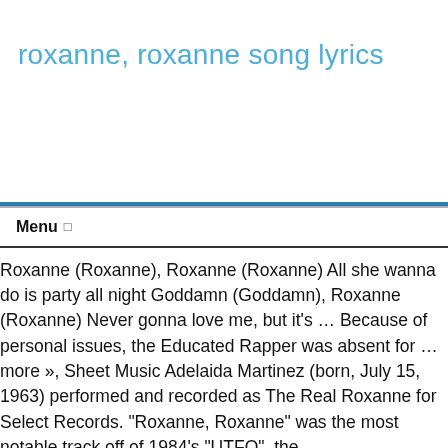roxanne, roxanne song lyrics
Menu ☰
Roxanne (Roxanne), Roxanne (Roxanne) All she wanna do is party all night Goddamn (Goddamn), Roxanne (Roxanne) Never gonna love me, but it's … Because of personal issues, the Educated Rapper was absent for … more », Sheet Music Adelaida Martinez (born, July 15, 1963) performed and recorded as The Real Roxanne for Select Records. "Roxanne, Roxanne" was the most notable track off of 1984's "UTFO", the